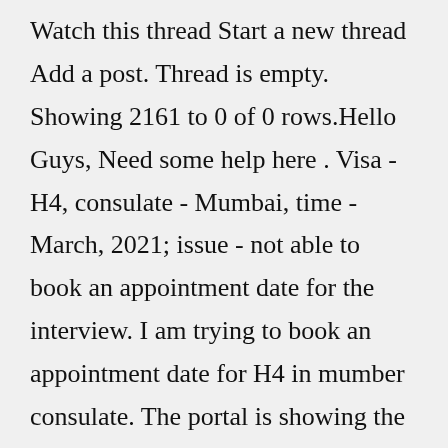Watch this thread Start a new thread Add a post. Thread is empty. Showing 2161 to 0 of 0 rows.Hello Guys, Need some help here . Visa - H4, consulate - Mumbai, time - March, 2021; issue - not able to book an appointment date for the interview. I am trying to book an appointment date for H4 in mumber consulate. The portal is showing the available dates for "OFC". But, when I select a date and time and hit continue. It gives a message as " There are currently no